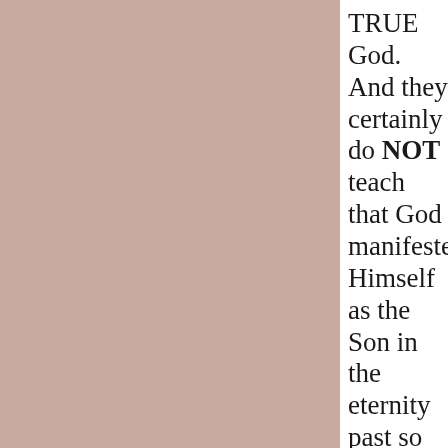TRUE God. And they certainly do NOT teach that God manifested Himself as the Son in the eternity past so He could be